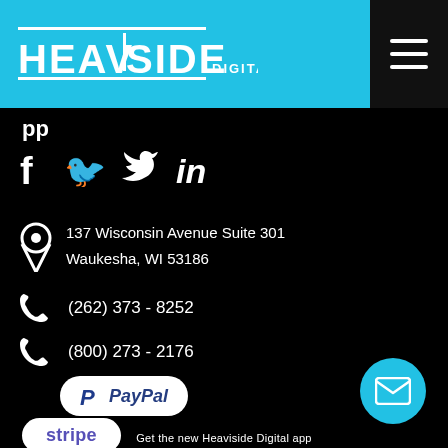Heaviside Digital
f  in
137 Wisconsin Avenue Suite 301
Waukesha, WI 53186
(262) 373 - 8252
(800) 273 - 2176
[Figure (logo): PayPal payment badge with white rounded rectangle background]
[Figure (logo): Stripe payment badge with white rounded rectangle background]
[Figure (illustration): Cyan circular mail/envelope floating action button]
Get the new Heaviside Digital app